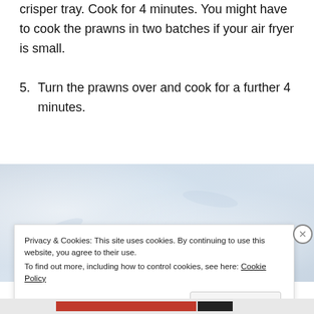crisper tray. Cook for 4 minutes. You might have to cook the prawns in two batches if your air fryer is small.
5. Turn the prawns over and cook for a further 4 minutes.
[Figure (photo): A light blue-grey marble or surface photo, partially visible]
Privacy & Cookies: This site uses cookies. By continuing to use this website, you agree to their use.
To find out more, including how to control cookies, see here: Cookie Policy
Close and accept